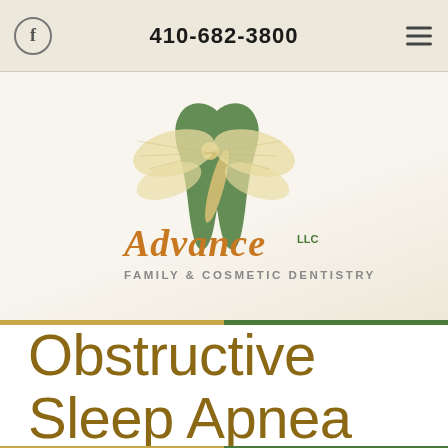410-682-3800
[Figure (logo): Advance LLC Family & Cosmetic Dentistry logo featuring a dragonfly over a stylized green tooth, with script text 'Advance LLC' in gold/brown and 'FAMILY & COSMETIC DENTISTRY' in gray below]
Obstructive Sleep Apnea